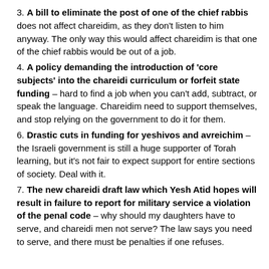3. A bill to eliminate the post of one of the chief rabbis does not affect chareidim, as they don't listen to him anyway. The only way this would affect chareidim is that one of the chief rabbis would be out of a job.
4. A policy demanding the introduction of ‘core subjects’ into the chareidi curriculum or forfeit state funding – hard to find a job when you can’t add, subtract, or speak the language. Chareidim need to support themselves, and stop relying on the government to do it for them.
6. Drastic cuts in funding for yeshivos and avreichim – the Israeli government is still a huge supporter of Torah learning, but it’s not fair to expect support for entire sections of society. Deal with it.
7. The new chareidi draft law which Yesh Atid hopes will result in failure to report for military service a violation of the penal code – why should my daughters have to serve, and chareidi men not serve? The law says you need to serve, and there must be penalties if one refuses.